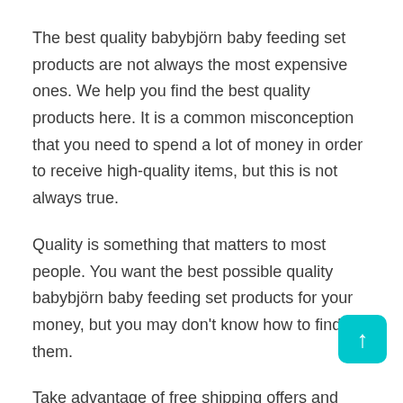The best quality babybjörn baby feeding set products are not always the most expensive ones. We help you find the best quality products here. It is a common misconception that you need to spend a lot of money in order to receive high-quality items, but this is not always true.
Quality is something that matters to most people. You want the best possible quality babybjörn baby feeding set products for your money, but you may don't know how to find them.
Take advantage of free shipping offers and deals offered by sellers on certain items at different times throughout the year because they are generally very good!